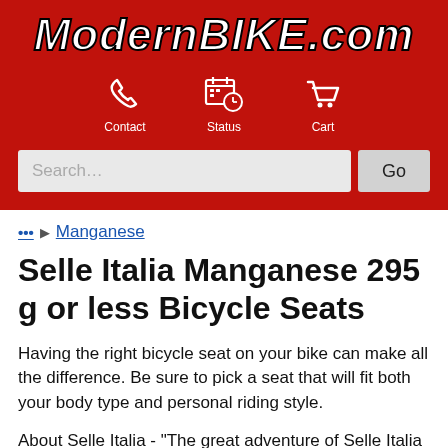ModernBIKE.com
[Figure (screenshot): Navigation icons: phone (Contact), calendar/clock (Status), shopping cart (Cart)]
Search...  Go
... ▶ Manganese
Selle Italia Manganese 295 g or less Bicycle Seats
Having the right bicycle seat on your bike can make all the difference. Be sure to pick a seat that will fit both your body type and personal riding style.
About Selle Italia - "The great adventure of Selle Italia began just outside of Milan